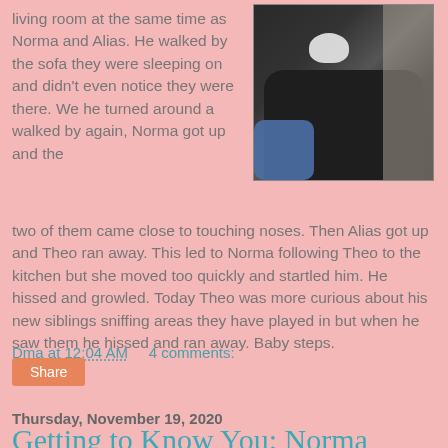living room at the same time as Norma and Alias. He walked by the sofa they were sleeping on and didn't even notice they were there. We he turned around a walked by again, Norma got up and the two of them came close to touching noses. Then Alias got up and Theo ran away. This led to Norma following Theo to the kitchen but she moved too quickly and startled him. He hissed and growled. Today Theo was more curious about his new siblings sniffing areas they have played in but when he saw them he hissed and ran away. Baby steps.
[Figure (photo): A black and white cat looking upward, photographed from above, appears to be sitting on a dark surface. A blue-sleeved arm is visible in the lower left.]
Dma at 12:04 AM    4 comments:
Share
Thursday, November 19, 2020
Getting to Know You: Norma